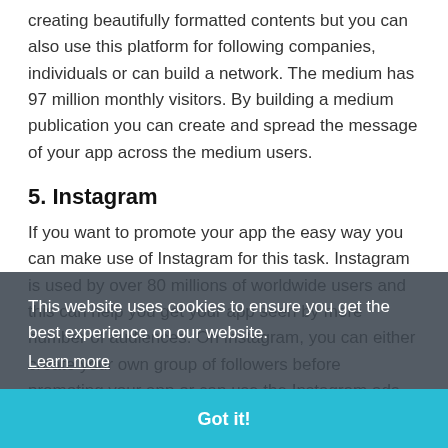creating beautifully formatted contents but you can also use this platform for following companies, individuals or can build a network. The medium has 97 million monthly visitors. By building a medium publication you can create and spread the message of your app across the medium users.
5. Instagram
If you want to promote your app the easy way you can make use of Instagram for this task. Instagram is used by over 80 millions of worldwide users and this can help you get your app seen by more number of audiences. On Instagram, you can either create your own group of followers before promoting your app or can use the Instagram ads for instant promotions.
6. Quora
This website uses cookies to ensure you get the best experience on our website.
Learn more
Got it!